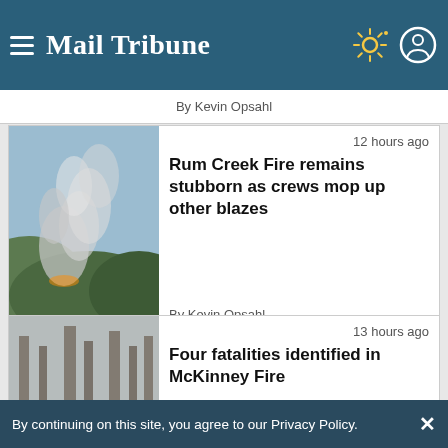Mail Tribune
By Kevin Opsahl
[Figure (photo): Smoke rising over hills from the Rum Creek Fire]
12 hours ago
Rum Creek Fire remains stubborn as crews mop up other blazes
By Kevin Opsahl
[Figure (photo): Burnt trees standing in smoke from the McKinney Fire]
13 hours ago
Four fatalities identified in McKinney Fire
By continuing on this site, you agree to our Privacy Policy.